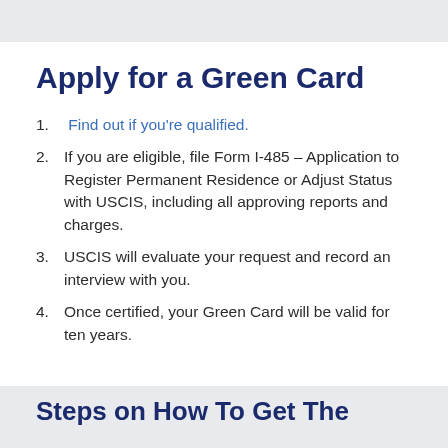Apply for a Green Card
Find out if you're qualified.
If you are eligible, file Form I-485 – Application to Register Permanent Residence or Adjust Status with USCIS, including all approving reports and charges.
USCIS will evaluate your request and record an interview with you.
Once certified, your Green Card will be valid for ten years.
Steps on How To Get The